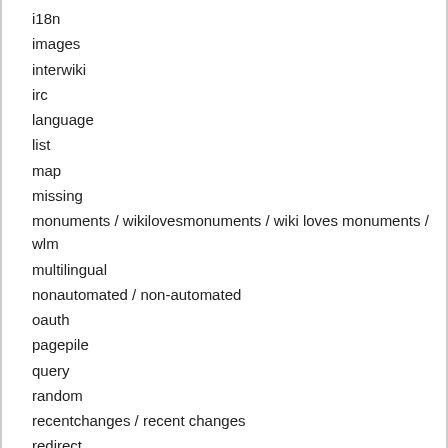i18n
images
interwiki
irc
language
list
map
missing
monuments / wikilovesmonuments / wiki loves monuments / wlm
multilingual
nonautomated / non-automated
oauth
pagepile
query
random
recentchanges / recent changes
redirect
reference
reuse
rss